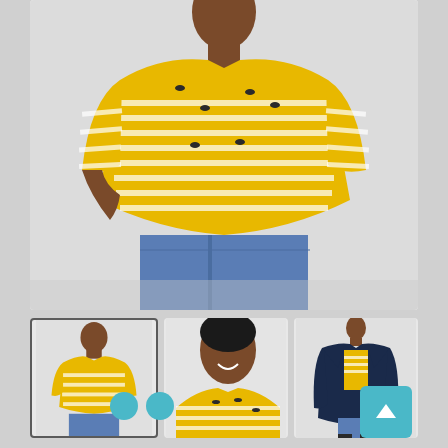[Figure (photo): Main product photo: woman wearing a yellow and white striped long-sleeve top with small bee/bird embroidery details, paired with blue jeans. Shot from waist up on light grey background.]
[Figure (photo): Thumbnail 1 (selected/highlighted): full body shot of woman in the same yellow striped top and blue jeans.]
[Figure (photo): Thumbnail 2: close-up face and upper chest of woman wearing the yellow striped top, smiling.]
[Figure (photo): Thumbnail 3: full body shot of woman wearing the yellow striped top under a long navy blue coat with blue jeans.]